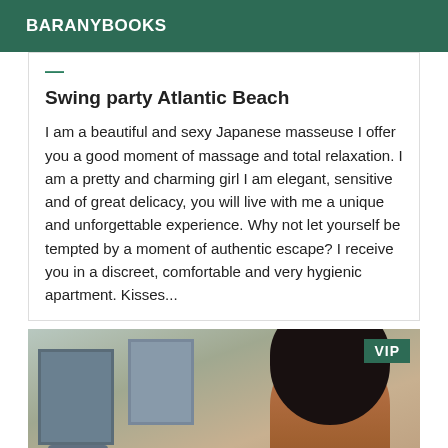BARANYBOOKS
Swing party Atlantic Beach
I am a beautiful and sexy Japanese masseuse I offer you a good moment of massage and total relaxation. I am a pretty and charming girl I am elegant, sensitive and of great delicacy, you will live with me a unique and unforgettable experience. Why not let yourself be tempted by a moment of authentic escape? I receive you in a discreet, comfortable and very hygienic apartment. Kisses...
[Figure (photo): Photo of a woman with dark hair seated on a terrace/balcony area, with chairs and a plant in the background. A VIP badge appears in the top-right corner.]